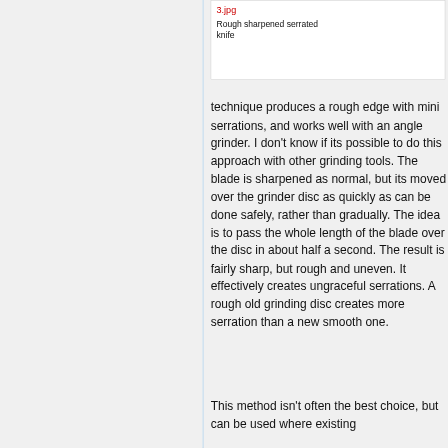3.jpg
Rough sharpened serrated knife
technique produces a rough edge with mini serrations, and works well with an angle grinder. I don't know if its possible to do this approach with other grinding tools. The blade is sharpened as normal, but its moved over the grinder disc as quickly as can be done safely, rather than gradually. The idea is to pass the whole length of the blade over the disc in about half a second. The result is fairly sharp, but rough and uneven. It effectively creates ungraceful serrations. A rough old grinding disc creates more serration than a new smooth one.
This method isn't often the best choice, but can be used where existing